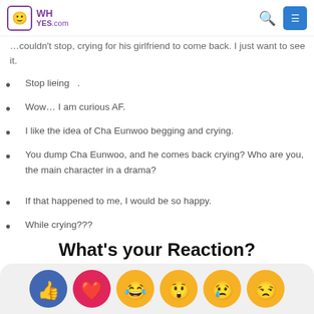WHyes.com
…couldn't stop, crying for his girlfriend to come back. I just want to see it.
Stop lieing .
Wow… I am curious AF.
I like the idea of Cha Eunwoo begging and crying.
You dump Cha Eunwoo, and he comes back crying? Who are you, the main character in a drama?
If that happened to me, I would be so happy.
While crying???
What's your Reaction?
[Figure (illustration): Row of reaction emoji icons: thumbs up (blue circle), heart (pink circle), laughing face, surprised face, sad face, skeptical face]